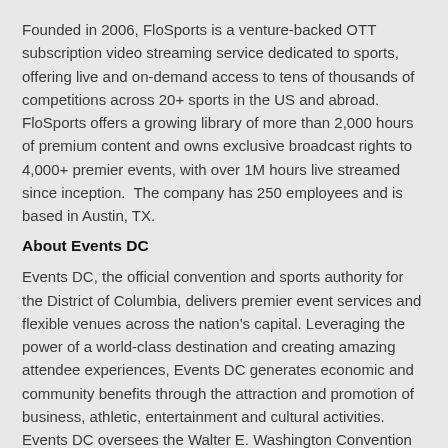Founded in 2006, FloSports is a venture-backed OTT subscription video streaming service dedicated to sports, offering live and on-demand access to tens of thousands of competitions across 20+ sports in the US and abroad. FloSports offers a growing library of more than 2,000 hours of premium content and owns exclusive broadcast rights to 4,000+ premier events, with over 1M hours live streamed since inception.  The company has 250 employees and is based in Austin, TX.
About Events DC
Events DC, the official convention and sports authority for the District of Columbia, delivers premier event services and flexible venues across the nation's capital. Leveraging the power of a world-class destination and creating amazing attendee experiences, Events DC generates economic and community benefits through the attraction and promotion of business, athletic, entertainment and cultural activities. Events DC oversees the Walter E. Washington Convention Center, an anchor of the District's hospitality and tourism economy that hosts more than 1.7 million visitors and generates more than $400 million annually in total economic impact, and the historic Carnegie Library at Mt. Vernon Square. Events DC manages the RFK Stadium-Armory Campus (RFK Campus), including Robert F. Kennedy Memorial Stadium, Festival Grounds at RFK Campus, the non-military functions of the DC Armory